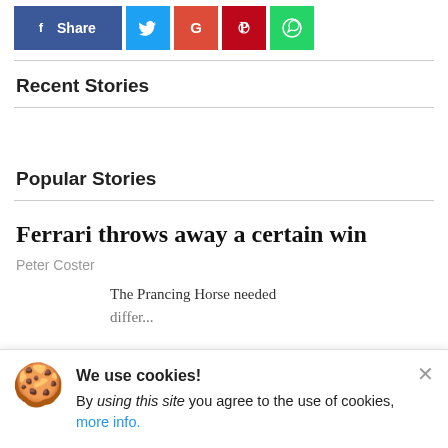[Figure (other): Social share buttons: Facebook Share (blue), Twitter (light blue), Google (red), Pinterest (dark red), WhatsApp (green)]
Recent Stories
Popular Stories
Ferrari throws away a certain win
Peter Coster
The Prancing Horse needed different...
We use cookies! By using this site you agree to the use of cookies, more info.